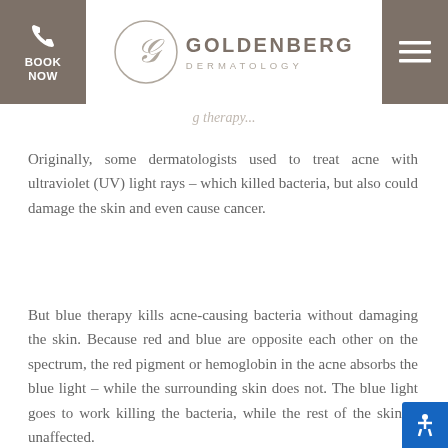[Figure (logo): Goldenberg Dermatology logo with circular GD monogram and navigation bar with phone/book and hamburger menu]
Originally, some dermatologists used to treat acne with ultraviolet (UV) light rays – which killed bacteria, but also could damage the skin and even cause cancer.
But blue therapy kills acne-causing bacteria without damaging the skin. Because red and blue are opposite each other on the spectrum, the red pigment or hemoglobin in the acne absorbs the blue light – while the surrounding skin does not. The blue light goes to work killing the bacteria, while the rest of the skin is unaffected.